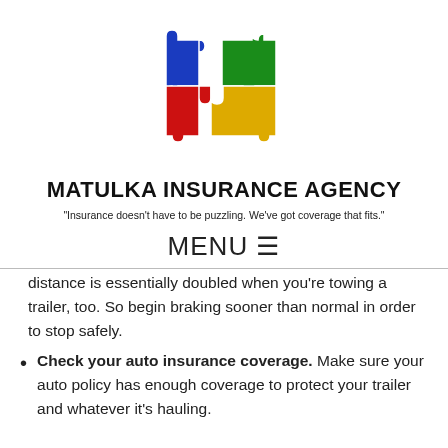[Figure (logo): Matulka Insurance Agency logo: four interlocking puzzle pieces in blue, green, red, and yellow]
MATULKA INSURANCE AGENCY
"Insurance doesn't have to be puzzling.  We've got coverage that fits."
MENU ☰
distance is essentially doubled when you're towing a trailer, too. So begin braking sooner than normal in order to stop safely.
Check your auto insurance coverage. Make sure your auto policy has enough coverage to protect your trailer and whatever it's hauling.